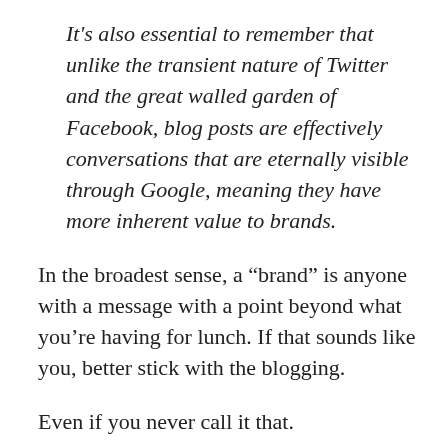It's also essential to remember that unlike the transient nature of Twitter and the great walled garden of Facebook, blog posts are effectively conversations that are eternally visible through Google, meaning they have more inherent value to brands.
In the broadest sense, a “brand” is anyone with a message with a point beyond what you’re having for lunch. If that sounds like you, better stick with the blogging.
Even if you never call it that.